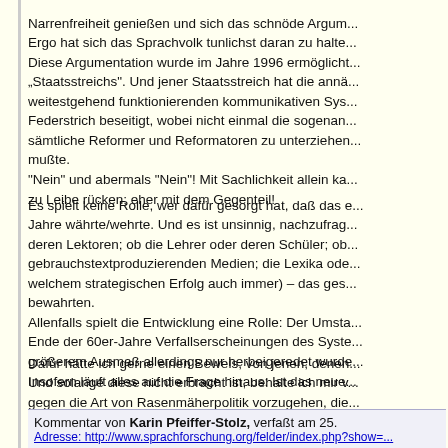Narrenfreiheit genießen und sich das schnöde Argum... Ergo hat sich das Sprachvolk tunlichst daran zu halte... Diese Argumentation wurde im Jahre 1996 ermöglicht... „Staatsstreichs". Und jener Staatsstreich hat die annä... weitestgehend funktionierenden kommunikativen Sys... Federstrich beseitigt, wobei nicht einmal die sogenan... sämtliche Reformer und Reformatoren zu unterziehen... mußte. "Nein" und abermals "Nein"! Mit Sachlichkeit allein ka... zu Leibe rücken; eher mit dem Gegenteil!
Es spielt keine Rolle, wer dafür gesorgt hat, daß das e... Jahre währte/wehrte. Und es ist unsinnig, nachzufrag... deren Lektoren; ob die Lehrer oder deren Schüler; ob... gebrauchstextproduzierenden Medien; die Lexika ode... welchem strategischen Erfolg auch immer) – das ges... bewahrten. Allenfalls spielt die Entwicklung eine Rolle: Der Umsta... Ende der 60er-Jahre Verfallserscheinungen des Syste... größerem Ausmaß allerdings nur herbeigeredet wurde... Insofern läuft alles auf die Frage hinaus: Ist das neue...
Dafür hätte ich gerne einen Beweis, von jenen, denen... Und solange diese nicht erbracht ist, behalte ich mir v... gegen die Art von Rasenmäherpolitik vorzugehen, die... noch" auszeichnet.
Kommentar von Karin Pfeiffer-Stolz, verfaßt am 25. ... Adresse: http://www.sprachforschung.org/felder/index.php?show=...